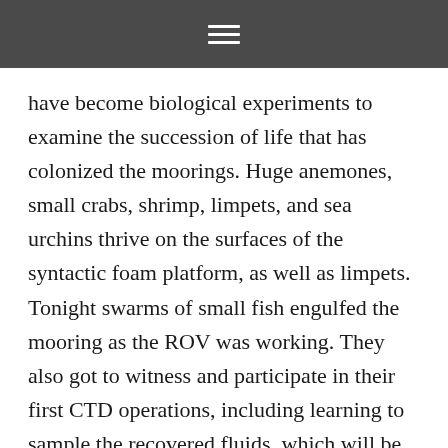have become biological experiments to examine the succession of life that has colonized the moorings. Huge anemones, small crabs, shrimp, limpets, and sea urchins thrive on the surfaces of the syntactic foam platform, as well as limpets. Tonight swarms of small fish engulfed the mooring as the ROV was working. They also got to witness and participate in their first CTD operations, including learning to sample the recovered fluids, which will be analyzed on the ship and onshore to verify some of the cabled instruments on the moorings.